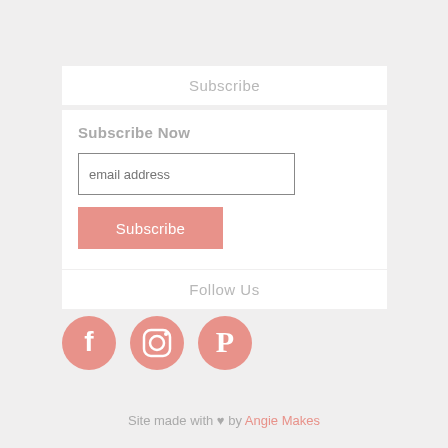Subscribe
Subscribe Now
email address
Subscribe
Follow Us
[Figure (other): Social media icons: Facebook, Instagram, Pinterest in pink/salmon color]
Site made with ♥ by Angie Makes